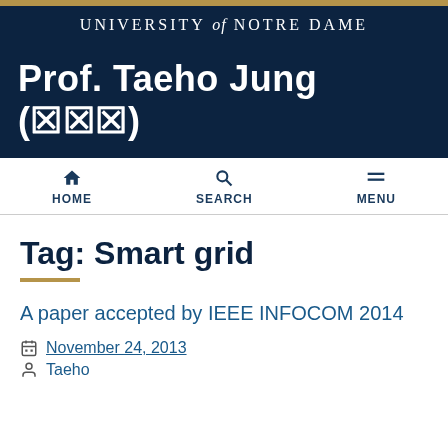UNIVERSITY of NOTRE DAME
Prof. Taeho Jung (정태호)
Tag: Smart grid
A paper accepted by IEEE INFOCOM 2014
November 24, 2013
Taeho